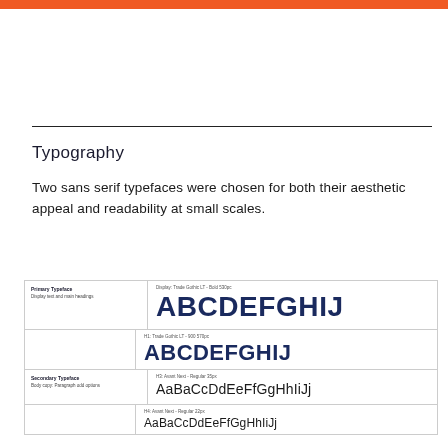[Figure (other): Orange horizontal bar at top of page]
Typography
Two sans serif typefaces were chosen for both their aesthetic appeal and readability at small scales.
[Figure (infographic): Typography specimen box showing Primary Typeface (Display: Trade Gothic LT - Bold 530pc) with ABCDEFGHIJ in large bold dark navy, H1 Trade Gothic LT - 900 570pc with ABCDEFGHIJ in bold dark navy, and Secondary Typeface (Body copy: Paragraph odd options) with H3 Avant Next - Regular 35px showing AaBaCcDdEeFfGgHhIiJj, and H4 Avant Next - Regular 22px showing AaBaCcDdEeFfGgHhIiJj]